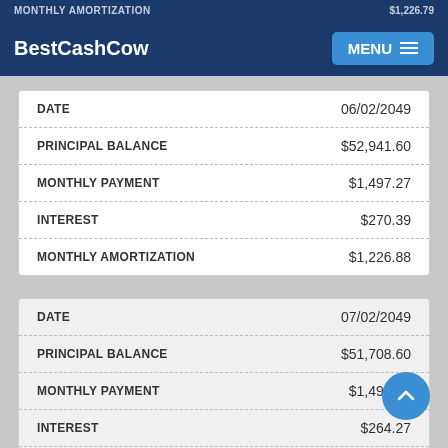MONTHLY AMORTIZATION | $1,226.79 (partial, cut off)
BestCashCow | MENU
| FIELD | VALUE |
| --- | --- |
| DATE | 06/02/2049 |
| PRINCIPAL BALANCE | $52,941.60 |
| MONTHLY PAYMENT | $1,497.27 |
| INTEREST | $270.39 |
| MONTHLY AMORTIZATION | $1,226.88 |
| FIELD | VALUE |
| --- | --- |
| DATE | 07/02/2049 |
| PRINCIPAL BALANCE | $51,708.60 |
| MONTHLY PAYMENT | $1,497.27 |
| INTEREST | $264.27 |
| MONTHLY AMORTIZATION | $1,233.00 |